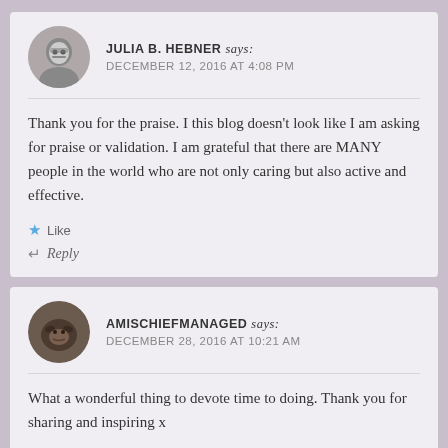JULIA B. HEBNER says: DECEMBER 12, 2016 AT 4:08 PM
Thank you for the praise. I this blog doesn’t look like I am asking for praise or validation. I am grateful that there are MANY people in the world who are not only caring but also active and effective.
★ Like
↵ Reply
AMISCHIEFMANAGED says: DECEMBER 28, 2016 AT 10:21 AM
What a wonderful thing to devote time to doing. Thank you for sharing and inspiring x